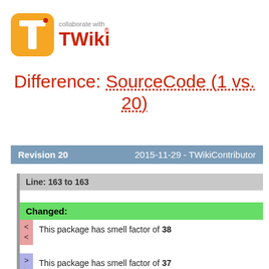[Figure (logo): TWiki logo with orange/yellow T icon and 'collaborate with TWiki' text in orange/red]
Difference: SourceCode (1 vs. 20)
| Revision 20 | 2015-11-29 - TWikiContributor |
| --- | --- |
Line: 163 to 163
Changed:
This package has smell factor of 38
This package has smell factor of 37
TWiki::Engine
Line: 1235 to 1235